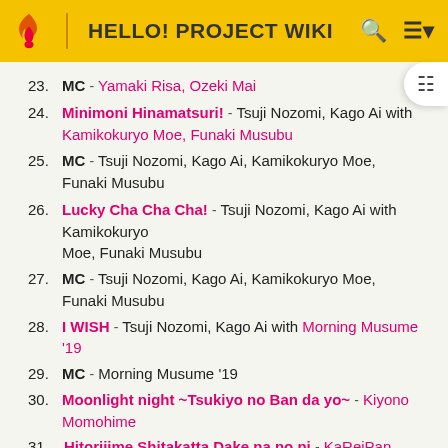HELLO! PROJECT WIKI
23. MC - Yamaki Risa, Ozeki Mai
24. Minimoni Hinamatsuri! - Tsuji Nozomi, Kago Ai with Kamikokuryo Moe, Funaki Musubu
25. MC - Tsuji Nozomi, Kago Ai, Kamikokuryo Moe, Funaki Musubu
26. Lucky Cha Cha Cha! - Tsuji Nozomi, Kago Ai with Kamikokuryo Moe, Funaki Musubu
27. MC - Tsuji Nozomi, Kago Ai, Kamikokuryo Moe, Funaki Musubu
28. I WISH - Tsuji Nozomi, Kago Ai with Morning Musume '19
29. MC - Morning Musume '19
30. Moonlight night ~Tsukiyo no Ban da yo~ - Kiyono Momohime
31. Hitorijime Shitakatta Dake na no ni - KaReiPan
32. Jidanda Dance - Juice=Juice
33. MC - Juice=Juice